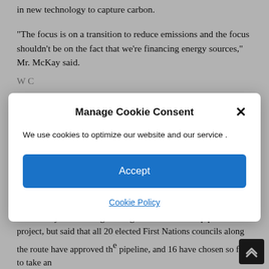in new technology to capture carbon.
“The focus is on a transition to reduce emissions and the focus shouldn’t be on the fact that we’re financing energy sources,” Mr. McKay said.
Well... [partially obscured text]
[Figure (screenshot): Cookie consent modal dialog with title 'Manage Cookie Consent', body text 'We use cookies to optimize our website and our service .', an Accept button, and a Cookie Policy link. A close X button is in the top right corner.]
Indigenous lands.
Mr. McKay acknowledged disagreements over the pipeline project, but said that all 20 elected First Nations councils along the route have approved the pipeline, and 16 have chosen so far to take an